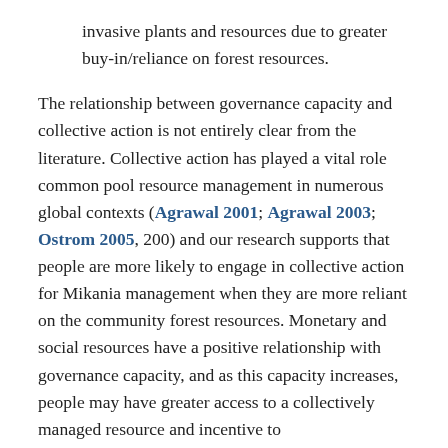invasive plants and resources due to greater buy-in/reliance on forest resources.
The relationship between governance capacity and collective action is not entirely clear from the literature. Collective action has played a vital role common pool resource management in numerous global contexts (Agrawal 2001; Agrawal 2003; Ostrom 2005, 200) and our research supports that people are more likely to engage in collective action for Mikania management when they are more reliant on the community forest resources. Monetary and social resources have a positive relationship with governance capacity, and as this capacity increases, people may have greater access to a collectively managed resource and incentive to